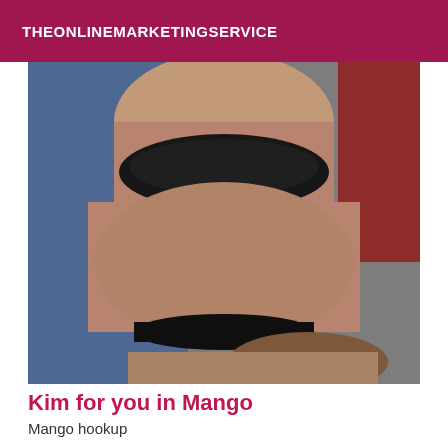THEONLINEMARKETINGSERVICE
[Figure (photo): Close-up photo of a person lying down wearing black lingerie]
Kim for you in Mango
Mango hookup